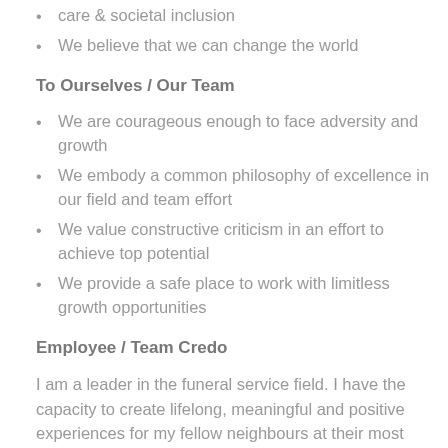care & societal inclusion
We believe that we can change the world
To Ourselves / Our Team
We are courageous enough to face adversity and growth
We embody a common philosophy of excellence in our field and team effort
We value constructive criticism in an effort to achieve top potential
We provide a safe place to work with limitless growth opportunities
Employee / Team Credo
I am a leader in the funeral service field. I have the capacity to create lifelong, meaningful and positive experiences for my fellow neighbours at their most sensitive time. I have the capacity to also do the opposite. I commit to my vocation in